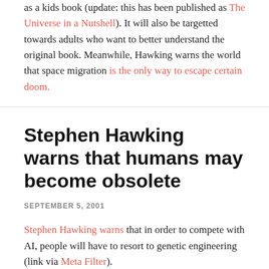as a kids book (update: this has been published as The Universe in a Nutshell). It will also be targetted towards adults who want to better understand the original book. Meanwhile, Hawking warns the world that space migration is the only way to escape certain doom.
Stephen Hawking warns that humans may become obsolete
SEPTEMBER 5, 2001
Stephen Hawking warns that in order to compete with AI, people will have to resort to genetic engineering (link via Meta Filter).